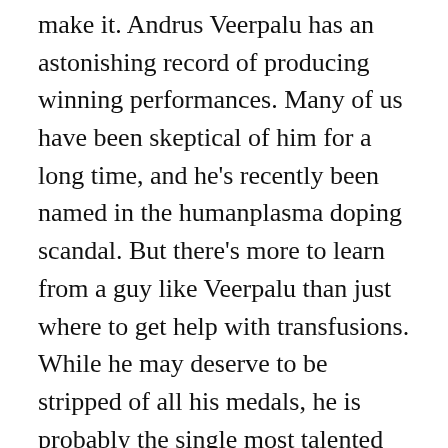make it. Andrus Veerpalu has an astonishing record of producing winning performances. Many of us have been skeptical of him for a long time, and he's recently been named in the humanplasma doping scandal. But there's more to learn from a guy like Veerpalu than just where to get help with transfusions. While he may deserve to be stripped of all his medals, he is probably the single most talented big race skier in the last ten years. If we allow the suspicion of doping to stand as an obstacle to beating him then we'll never succeed. When Kris heard that Veerpalu had been named his first reaction was to ask whether his medal from Liberec would be stripped. There is no chance that Veerpalu will have any medals taken from him